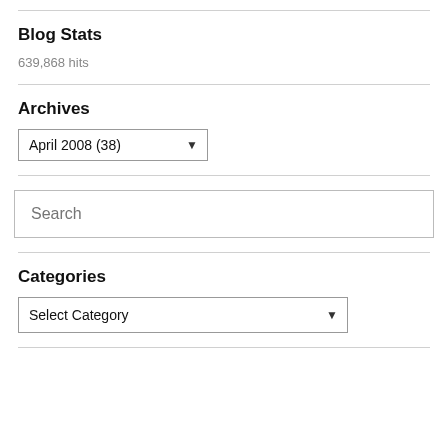Blog Stats
639,868 hits
Archives
[Figure (other): Dropdown select showing 'April 2008  (38)']
[Figure (other): Search input box with placeholder text 'Search']
Categories
[Figure (other): Dropdown select showing 'Select Category']